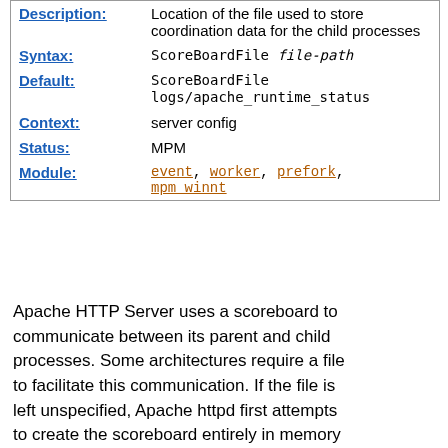| Description: | Location of the file used to store coordination data for the child processes |
| Syntax: | ScoreBoardFile file-path |
| Default: | ScoreBoardFile logs/apache_runtime_status |
| Context: | server config |
| Status: | MPM |
| Module: | event, worker, prefork, mpm_winnt |
Apache HTTP Server uses a scoreboard to communicate between its parent and child processes. Some architectures require a file to facilitate this communication. If the file is left unspecified, Apache httpd first attempts to create the scoreboard entirely in memory (using anonymous shared